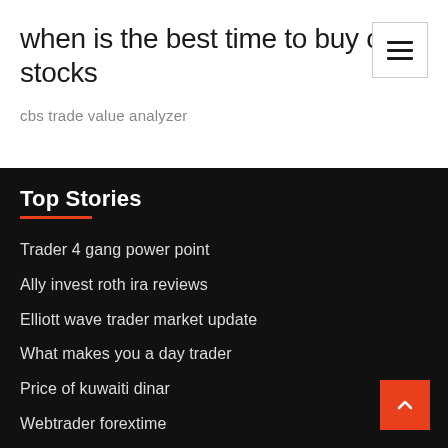when is the best time to buy oil stocks
cbs trade value analyzer
Top Stories
Trader 4 gang power point
Ally invest roth ira reviews
Elliott wave trader market update
What makes you a day trader
Price of kuwaiti dinar
Webtrader forextime
Blog trading eve online